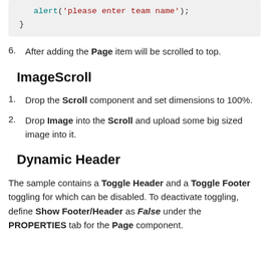[Figure (screenshot): Code block showing: alert('please enter team name'); }]
6. After adding the Page item will be scrolled to top.
ImageScroll
1. Drop the Scroll component and set dimensions to 100%.
2. Drop Image into the Scroll and upload some big sized image into it.
Dynamic Header
The sample contains a Toggle Header and a Toggle Footer toggling for which can be disabled. To deactivate toggling, define Show Footer/Header as False under the PROPERTIES tab for the Page component.